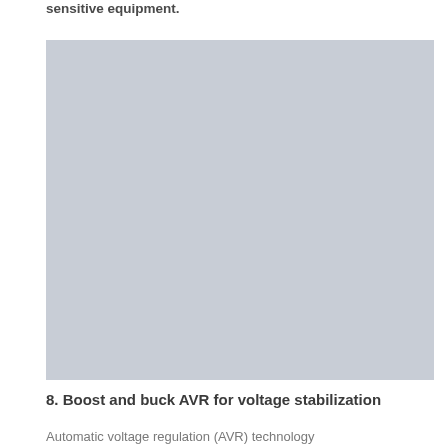sensitive equipment.
[Figure (photo): Large gray placeholder image, approximately square, with light blue-gray background color.]
8. Boost and buck AVR for voltage stabilization
Automatic voltage regulation (AVR) technology